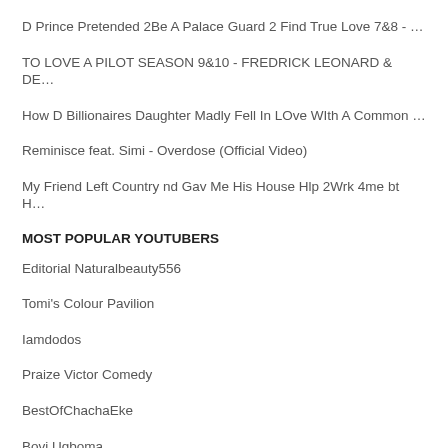D Prince Pretended 2Be A Palace Guard 2 Find True Love 7&8 - …
TO LOVE A PILOT SEASON 9&10 - FREDRICK LEONARD & DE…
How D Billionaires Daughter Madly Fell In LOve WIth A Common …
Reminisce feat. Simi - Overdose (Official Video)
My Friend Left Country nd Gav Me His House Hlp 2Wrk 4me bt H…
MOST POPULAR YOUTUBERS
Editorial Naturalbeauty556
Tomi's Colour Pavilion
Iamdodos
Praize Victor Comedy
BestOfChachaEke
Bovi Ugboma